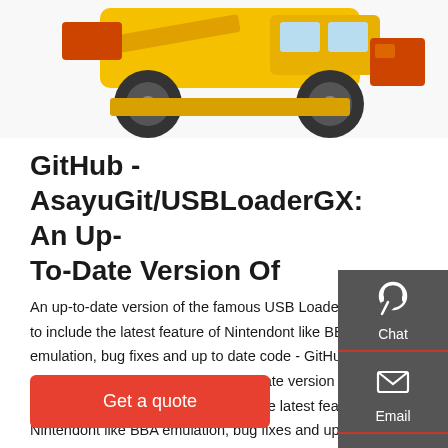[Figure (photo): Partial view of a yellow construction wheel loader / front-end loader vehicle cropped at the top of the page]
GitHub - AsayuGit/USBLoaderGX: An Up-To-Date Version Of
An up-to-date version of the famous USB Loader GX to include the latest feature of Nintendont like BBA emulation, bug fixes and up to date code - GitHub - AsayuGit/USBLoaderGX: An up-to-date version of the famous USB Loader GX to include the latest feature of Nintendont like BBA emulation, bug fixes and up to date code
[Figure (infographic): Dark grey sidebar with three icons: Chat (headset icon), Email (envelope icon), Contact (speech bubble with dots icon), separated by red horizontal lines]